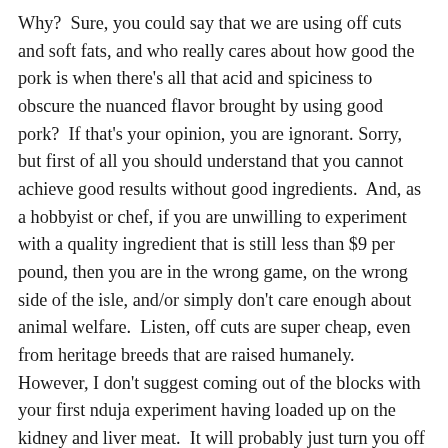Why? Sure, you could say that we are using off cuts and soft fats, and who really cares about how good the pork is when there's all that acid and spiciness to obscure the nuanced flavor brought by using good pork? If that's your opinion, you are ignorant. Sorry, but first of all you should understand that you cannot achieve good results without good ingredients. And, as a hobbyist or chef, if you are unwilling to experiment with a quality ingredient that is still less than $9 per pound, then you are in the wrong game, on the wrong side of the isle, and/or simply don't care enough about animal welfare. Listen, off cuts are super cheap, even from heritage breeds that are raised humanely. However, I don't suggest coming out of the blocks with your first nduja experiment having loaded up on the kidney and liver meat. It will probably just turn you off the 'nduja thing, all together. Get jowl meat, belly meat and supplement with shoulder, but get from a well raised animal. No need to necessarily source a heritage breed right away, or really at all. (Although, if you produce for the market, it is likely that you do whole muscle cuts and various other cured